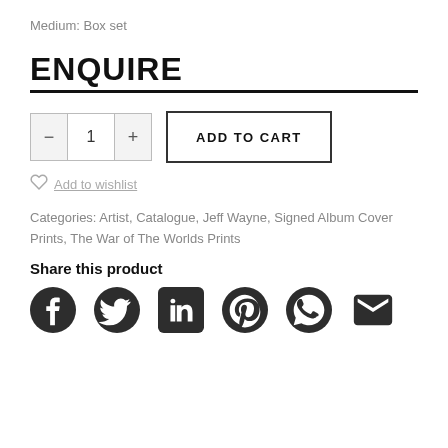Medium: Box set
ENQUIRE
- 1 + ADD TO CART
Add to wishlist
Categories: Artist, Catalogue, Jeff Wayne, Signed Album Cover Prints, The War of The Worlds Prints
Share this product
[Figure (infographic): Six social media share icons: Facebook, Twitter, LinkedIn, Pinterest, WhatsApp, Email]